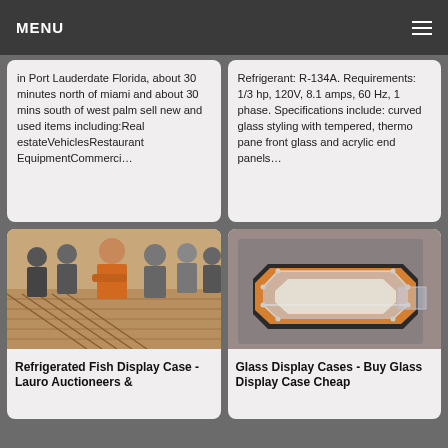MENU
in Port Lauderdale Florida, about 30 minutes north of miami and about 30 mins south of west palm sell new and used items including:Real estateVehiclesRestaurant EquipmentCommerci…
Refrigerant: R-134A. Requirements: 1/3 hp, 120V, 8.1 amps, 60 Hz, 1 phase. Specifications include: curved glass styling with tempered, thermo pane front glass and acrylic end panels…
[Figure (photo): People standing around auction items in a venue, man in orange shirt with arms crossed visible]
Refrigerated Fish Display Case - Lauro Auctioneers &
[Figure (photo): Hexagonal glass display case with orange and black base on a white background]
Glass Display Cases - Buy Glass Display Case Cheap